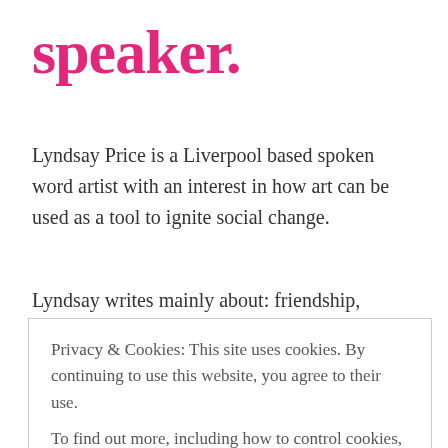speaker.
Lyndsay Price is a Liverpool based spoken word artist with an interest in how art can be used as a tool to ignite social change.
Lyndsay writes mainly about: friendship,
Privacy & Cookies: This site uses cookies. By continuing to use this website, you agree to their use.
To find out more, including how to control cookies, see here: Cookie Policy
Close and accept
name the feelings that often leave us speechless.